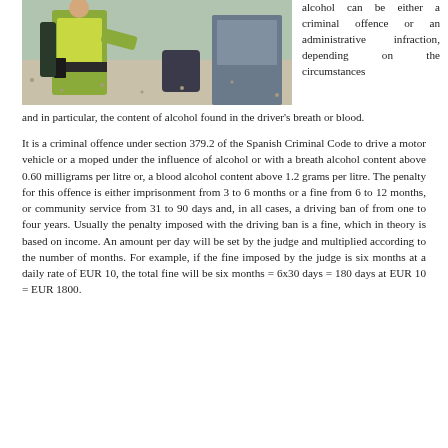[Figure (photo): Photo of a police officer in a yellow high-visibility vest performing a roadside check, with a bag visible near a car window.]
alcohol can be either a criminal offence or an administrative infraction, depending on the circumstances and in particular, the content of alcohol found in the driver's breath or blood.
It is a criminal offence under section 379.2 of the Spanish Criminal Code to drive a motor vehicle or a moped under the influence of alcohol or with a breath alcohol content above 0.60 milligrams per litre or, a blood alcohol content above 1.2 grams per litre. The penalty for this offence is either imprisonment from 3 to 6 months or a fine from 6 to 12 months, or community service from 31 to 90 days and, in all cases, a driving ban of from one to four years. Usually the penalty imposed with the driving ban is a fine, which in theory is based on income. An amount per day will be set by the judge and multiplied according to the number of months. For example, if the fine imposed by the judge is six months at a daily rate of EUR 10, the total fine will be six months = 6x30 days = 180 days at EUR 10 = EUR 1800.